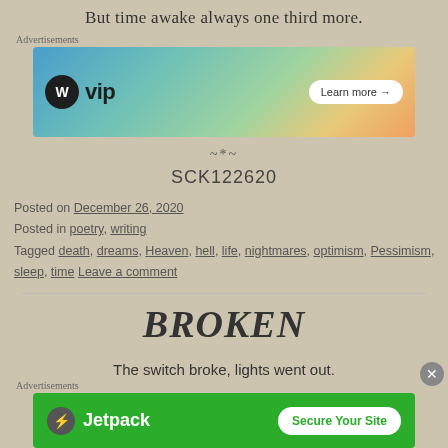But time awake always one third more.
Advertisements
[Figure (screenshot): WordPress VIP advertisement banner with 'Learn more →' button]
~*~
SCK122620
Posted on December 26, 2020
Posted in poetry, writing
Tagged death, dreams, Heaven, hell, life, nightmares, optimism, Pessimism, sleep, time Leave a comment
BROKEN
The switch broke, lights went out.
Now I sit alone in doubt.
Advertisements
[Figure (screenshot): Jetpack advertisement banner with 'Secure Your Site' button]